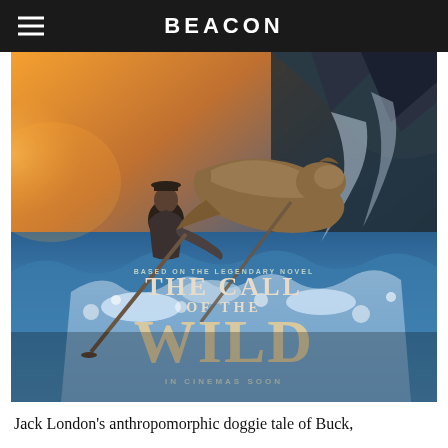BEACON
[Figure (photo): Movie poster for 'The Call of the Wild' showing a man paddling a boat through turbulent water with a large dog beside him. Text reads: 'BASED ON THE LEGENDARY NOVEL', 'THE CALL OF THE WILD', 'IN CINEMAS SOON']
Jack London's anthropomorphic doggie tale of Buck,